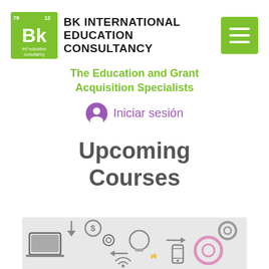[Figure (logo): BK International Education Consultancy logo — green periodic-table-style icon with 'Bk' letters, numbers 79 and 12, and text 'Int'l education consultancy'. Beside it bold text 'BK INTERNATIONAL EDUCATION CONSULTANCY'. Green hamburger menu button on the right.]
The Education and Grant Acquisition Specialists
Iniciar sesión
Upcoming Courses
[Figure (illustration): Infographic-style illustration with icons representing education, technology, and business concepts: laptop, gears, lightbulb, dollar sign, wifi, phone, arrows, and other symbols on a light grey background.]